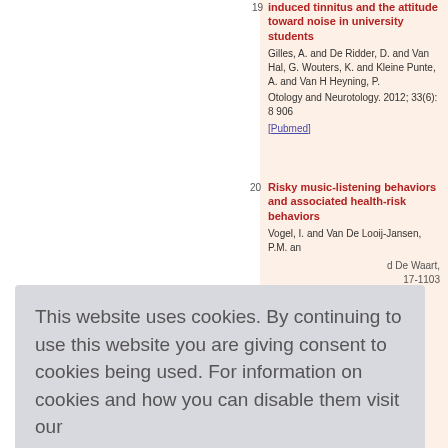induced tinnitus and the attitude toward noise in university students
Gilles, A. and De Ridder, D. and Van Hal, G. Wouters, K. and Kleine Punte, A. and Van H Heyning, P.
Otology and Neurotology. 2012; 33(6): 8 906
[Pubmed]
Risky music-listening behaviors and associated health-risk behaviors
Vogel, I. and Van De Looij-Jansen, P.M. an d De Waart, 17-1103
y Life: s on lou aring l after a nterventio
nce Educat
Indoor environment and
This website uses cookies. By continuing to use this website you are giving consent to cookies being used. For information on cookies and how you can disable them visit our
Privacy and Cookie Policy.
AGREE & PROCEED